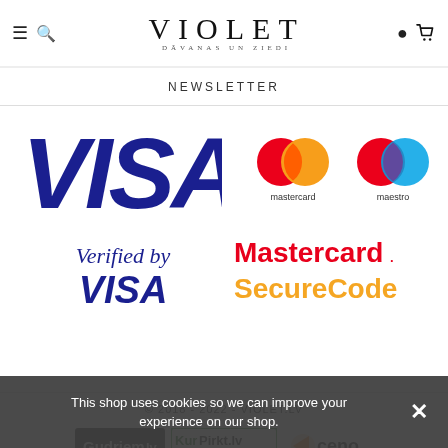VIOLET DĀVANAS UN ZIEDI
NEWSLETTER
[Figure (logo): VISA logo in dark blue bold text]
[Figure (logo): Mastercard logo with red and orange overlapping circles, text 'mastercard']
[Figure (logo): Maestro logo with red and blue overlapping circles, text 'maestro']
[Figure (logo): Verified by VISA logo in dark blue]
[Figure (logo): Mastercard SecureCode logo in red and orange text]
© 2018 - 2022 - VIOLET.LV
[Figure (logo): Gudriem.lv logo — dark grey background with orange dot on i]
[Figure (logo): KurPirkt.lv logo — green border, text 'visi interneta veikali']
[Figure (logo): Ceno logo — orange arrow icon with 'ceno' text]
[Figure (logo): Paysera logo — partial, blue circle and orange text]
This shop uses cookies so we can improve your experience on our shop.